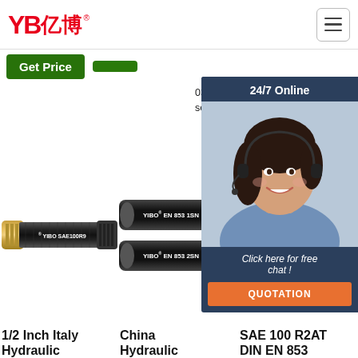YB亿博® — navigation header with hamburger menu
Get Price
length: 100m/roll Fitting: 00210 or 033... series
24/7 Online
Click here for free chat !
QUOTATION
[Figure (photo): Customer service representative with headset, smiling]
[Figure (photo): YIBO SAE100R9 hydraulic hose, black rubber with gold end fitting]
[Figure (photo): Two hydraulic hoses: YIBO EN 853 1SN (top) and YIBO EN 853 2SN (bottom)]
[Figure (photo): SAE 100 R2AT DIN EN 853 hydraulic hose fitting detail]
TOP
1/2 Inch Italy Hydraulic
China Hydraulic
SAE 100 R2AT DIN EN 853